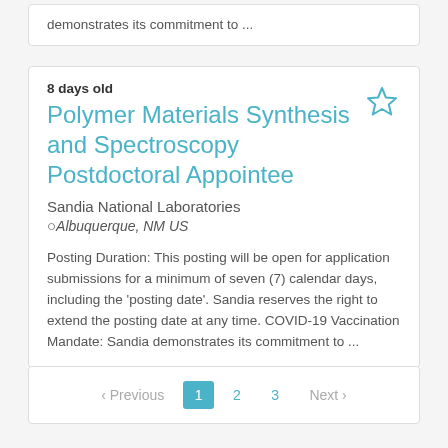demonstrates its commitment to ...
8 days old
Polymer Materials Synthesis and Spectroscopy Postdoctoral Appointee
Sandia National Laboratories
Albuquerque, NM US
Posting Duration: This posting will be open for application submissions for a minimum of seven (7) calendar days, including the ‘posting date’. Sandia reserves the right to extend the posting date at any time. COVID-19 Vaccination Mandate: Sandia demonstrates its commitment to ...
‹ Previous  1  2  3  Next ›